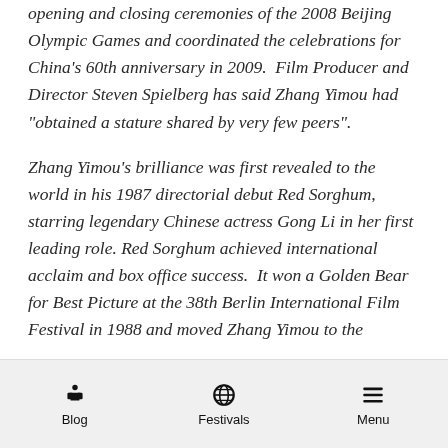opening and closing ceremonies of the 2008 Beijing Olympic Games and coordinated the celebrations for China's 60th anniversary in 2009.  Film Producer and Director Steven Spielberg has said Zhang Yimou had “obtained a stature shared by very few peers”.
Zhang Yimou’s brilliance was first revealed to the world in his 1987 directorial debut Red Sorghum, starring legendary Chinese actress Gong Li in her first leading role. Red Sorghum achieved international acclaim and box office success.  It won a Golden Bear for Best Picture at the 38th Berlin International Film Festival in 1988 and moved Zhang Yimou to the
Blog   Festivals   Menu